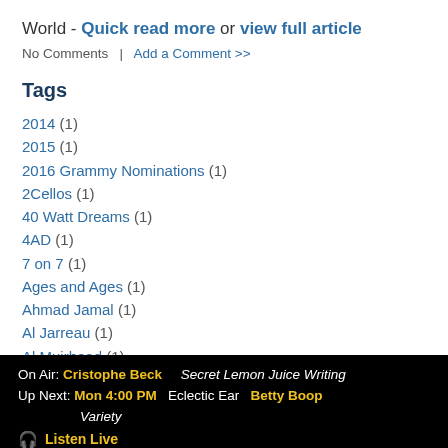World - Quick read more or view full article
No Comments  |  Add a Comment >>
Tags
2014 (1)
2015 (1)
2016 Grammy Nominations (1)
2Cellos (1)
40 Watt Dreams (1)
4AD (1)
7 on 7 (1)
Ages and Ages (1)
Ahmad Jamal (1)
Al Jarreau (1)
Al Muirhead (1)
On Air: Cristophe Beck   Secret Lemon Juice Writing
Up Next: Mon 4:00 PM   Eclectic Ear   Betty Boop
   Variety
🎧 Listen Live